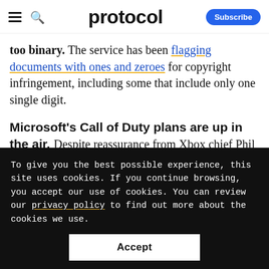protocol — Subscribe
too binary. The service has been flagging documents with ones and zeroes for copyright infringement, including some that include only one single digit.
Microsoft's Call of Duty plans are up in the air. Despite reassurance from Xbox chief Phil Spencer last week, Bloomberg reported that
To give you the best possible experience, this site uses cookies. If you continue browsing, you accept our use of cookies. You can review our privacy policy to find out more about the cookies we use.
Accept